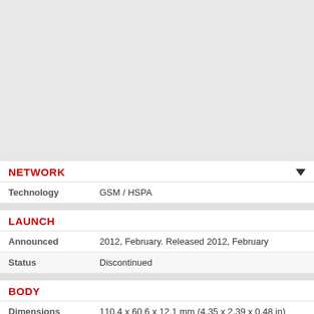[Figure (other): Gray placeholder area at top of page]
NETWORK
|  |  |
| --- | --- |
| Technology | GSM / HSPA |
LAUNCH
|  |  |
| --- | --- |
| Announced | 2012, February. Released 2012, February |
| Status | Discontinued |
BODY
|  |  |
| --- | --- |
| Dimensions | 110.4 x 60.6 x 12.1 mm (4.35 x 2.39 x 0.48 in) |
| Weight | 106.6 g (3.74 oz) |